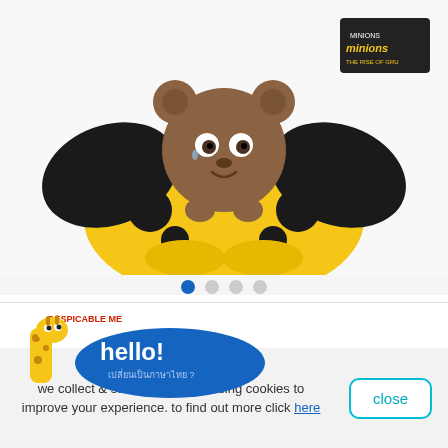[Figure (photo): Minions plush toy - Bob character dressed in a bee/ladybug costume in yellow and black, brown fuzzy bear-like face, sitting on white background with Minions: The Rise of Gru tag visible]
[Figure (illustration): Despicable Me branded hello popup with giraffe mascot and blue oval speech bubble saying 'hello!' with Thai text below]
Minions 2 Walk And Talk1 Bob
4.0 (2)
ages: 3+ years
we collect & store information using cookies to improve your experience. to find out more click here
close